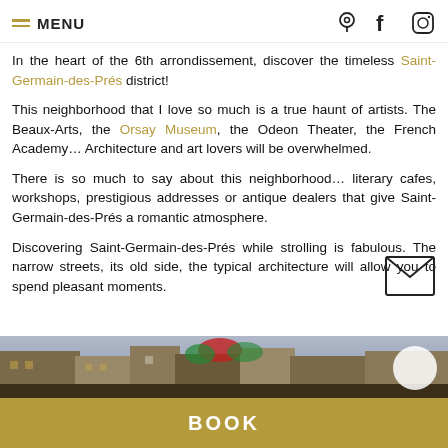MENU (with location, facebook, instagram icons)
In the heart of the 6th arrondissement, discover the timeless Saint-Germain-des-Prés district!
This neighborhood that I love so much is a true haunt of artists. The Beaux-Arts, the Orsay Museum, the Odeon Theater, the French Academy… Architecture and art lovers will be overwhelmed.
There is so much to say about this neighborhood… literary cafes, workshops, prestigious addresses or antique dealers that give Saint-Germain-des-Prés a romantic atmosphere.
Discovering Saint-Germain-des-Prés while strolling is fabulous. The narrow streets, its old side, the typical architecture will allow you to spend pleasant moments.
[Figure (photo): Street photo of Saint-Germain-des-Prés with flowers and buildings]
BOOK